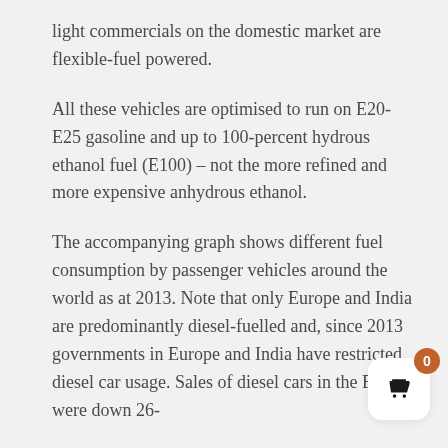light commercials on the domestic market are flexible-fuel powered.
All these vehicles are optimised to run on E20-E25 gasoline and up to 100-percent hydrous ethanol fuel (E100) – not the more refined and more expensive anhydrous ethanol.
The accompanying graph shows different fuel consumption by passenger vehicles around the world as at 2013. Note that only Europe and India are predominantly diesel-fuelled and, since 2013 governments in Europe and India have restricted diesel car usage. Sales of diesel cars in the EEC were down 26-